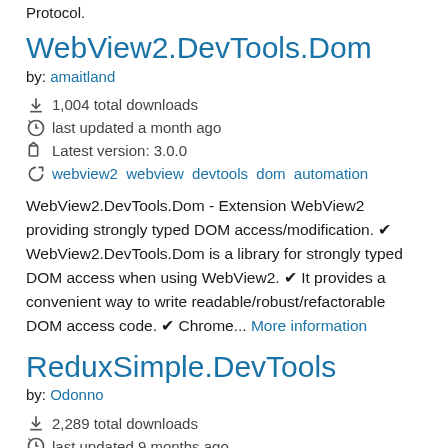Protocol.
WebView2.DevTools.Dom
by: amaitland
1,004 total downloads
last updated a month ago
Latest version: 3.0.0
webview2 webview devtools dom automation
WebView2.DevTools.Dom - Extension WebView2 providing strongly typed DOM access/modification. ✔ WebView2.DevTools.Dom is a library for strongly typed DOM access when using WebView2. ✔ It provides a convenient way to write readable/robust/refactorable DOM access code. ✔ Chrome... More information
ReduxSimple.DevTools
by: Odonno
2,289 total downloads
last updated 9 months ago
Latest version: 3.7.0-preview001